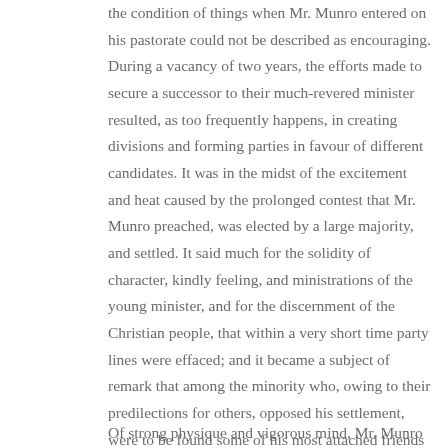the condition of things when Mr. Munro entered on his pastorate could not be described as encouraging. During a vacancy of two years, the efforts made to secure a successor to their much-revered minister resulted, as too frequently happens, in creating divisions and forming parties in favour of different candidates. It was in the midst of the excitement and heat caused by the prolonged contest that Mr. Munro preached, was elected by a large majority, and settled. It said much for the solidity of character, kindly feeling, and ministrations of the young minister, and for the discernment of the Christian people, that within a very short time party lines were effaced; and it became a subject of remark that among the minority who, owing to their predilections for others, opposed his settlement, were to be found some of his most attached friends and appreciative hearers. The most amicable relations continued thenceforth to be maintained between pastor and people.
Of strong physique and vigorous mind, Mr. Munro entered